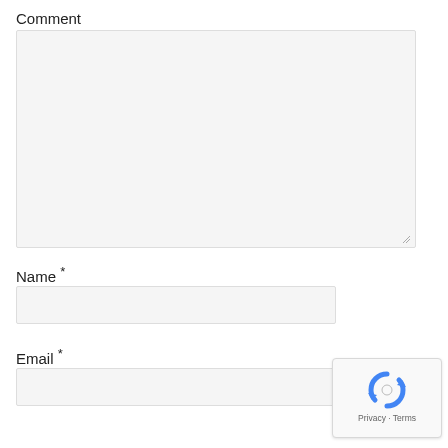Comment
[Figure (screenshot): Comment textarea input box (empty, light gray background with resize handle)]
Name *
[Figure (screenshot): Name text input field (empty, light gray background)]
Email *
[Figure (screenshot): Email text input field (empty, light gray background)]
[Figure (logo): reCAPTCHA badge with Google logo and Privacy - Terms text]